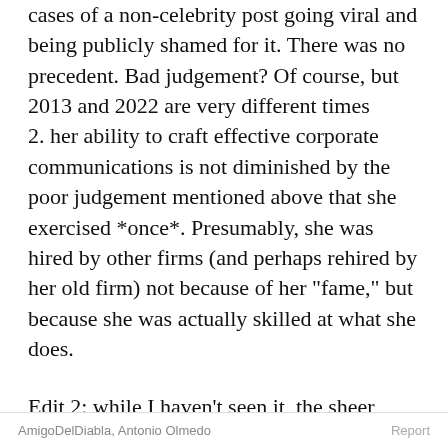cases of a non-celebrity post going viral and being publicly shamed for it. There was no precedent. Bad judgement? Of course, but 2013 and 2022 are very different times
2. her ability to craft effective corporate communications is not diminished by the poor judgement mentioned above that she exercised *once*. Presumably, she was hired by other firms (and perhaps rehired by her old firm) not because of her "fame," but because she was actually skilled at what she does.
Edit 2: while I haven't seen it, the sheer number of references to The Family Guy seems to indicate that yes, they did parody this situation in an episode. Seems like Seth McFarlane's brand of humor.
AmigoDelDiabla, Antonio Olmedo    Report